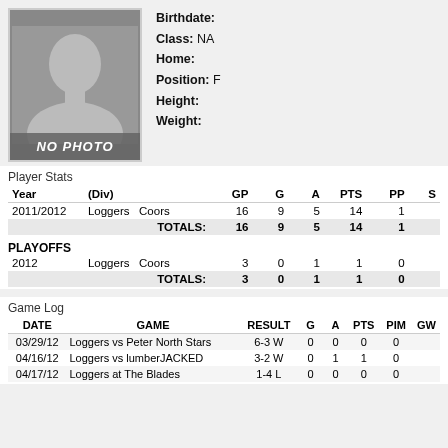[Figure (photo): Silhouette placeholder photo with 'NO PHOTO' label]
Birthdate:
Class: NA
Home:
Position: F
Height:
Weight:
Player Stats
| Year | (Div) | GP | G | A | PTS | PP | S |
| --- | --- | --- | --- | --- | --- | --- | --- |
| 2011/2012 | Loggers   Coors | 16 | 9 | 5 | 14 | 1 |  |
|  | TOTALS: | 16 | 9 | 5 | 14 | 1 |  |
PLAYOFFS
| Year | (Div) | GP | G | A | PTS | PP | S |
| --- | --- | --- | --- | --- | --- | --- | --- |
| 2012 | Loggers   Coors | 3 | 0 | 1 | 1 | 0 |  |
|  | TOTALS: | 3 | 0 | 1 | 1 | 0 |  |
Game Log
| DATE | GAME | RESULT | G | A | PTS | PIM | GW |
| --- | --- | --- | --- | --- | --- | --- | --- |
| 03/29/12 | Loggers vs Peter North Stars | 6-3 W | 0 | 0 | 0 | 0 |  |
| 04/16/12 | Loggers vs lumberJACKED | 3-2 W | 0 | 1 | 1 | 0 |  |
| 04/17/12 | Loggers at The Blades | 1-4 L | 0 | 0 | 0 | 0 |  |